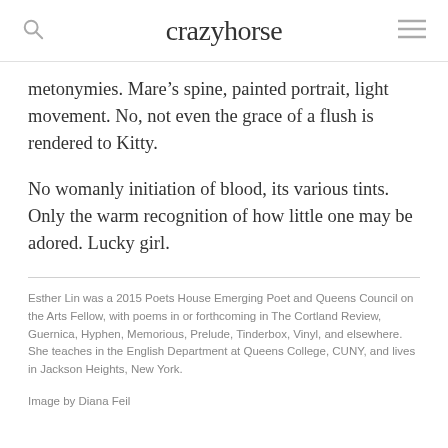crazyhorse
metonymies. Mare’s spine, painted portrait, light movement. No, not even the grace of a flush is rendered to Kitty.

No womanly initiation of blood, its various tints. Only the warm recognition of how little one may be adored. Lucky girl.
Esther Lin was a 2015 Poets House Emerging Poet and Queens Council on the Arts Fellow, with poems in or forthcoming in The Cortland Review, Guernica, Hyphen, Memorious, Prelude, Tinderbox, Vinyl, and elsewhere. She teaches in the English Department at Queens College, CUNY, and lives in Jackson Heights, New York.
Image by Diana Feil